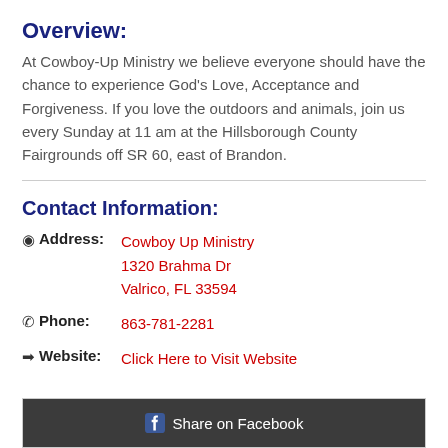Overview:
At Cowboy-Up Ministry we believe everyone should have the chance to experience God's Love, Acceptance and Forgiveness. If you love the outdoors and animals, join us every Sunday at 11 am at the Hillsborough County Fairgrounds off SR 60, east of Brandon.
Contact Information:
Address: Cowboy Up Ministry 1320 Brahma Dr Valrico, FL 33594
Phone: 863-781-2281
Website: Click Here to Visit Website
Share on Facebook